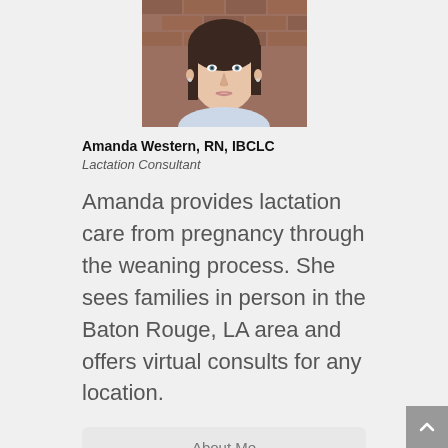[Figure (photo): Portrait photo of Amanda Western, a woman with dark hair, against a brick wall background]
Amanda Western, RN, IBCLC
Lactation Consultant
Amanda provides lactation care from pregnancy through the weaning process. She sees families in person in the Baton Rouge, LA area and offers virtual consults for any location.
About Me